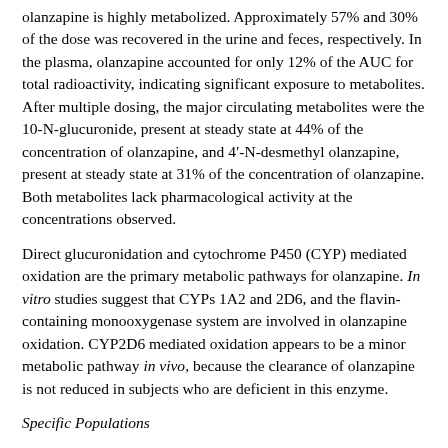olanzapine is highly metabolized. Approximately 57% and 30% of the dose was recovered in the urine and feces, respectively. In the plasma, olanzapine accounted for only 12% of the AUC for total radioactivity, indicating significant exposure to metabolites. After multiple dosing, the major circulating metabolites were the 10-N-glucuronide, present at steady state at 44% of the concentration of olanzapine, and 4′-N-desmethyl olanzapine, present at steady state at 31% of the concentration of olanzapine. Both metabolites lack pharmacological activity at the concentrations observed.
Direct glucuronidation and cytochrome P450 (CYP) mediated oxidation are the primary metabolic pathways for olanzapine. In vitro studies suggest that CYPs 1A2 and 2D6, and the flavin-containing monooxygenase system are involved in olanzapine oxidation. CYP2D6 mediated oxidation appears to be a minor metabolic pathway in vivo, because the clearance of olanzapine is not reduced in subjects who are deficient in this enzyme.
Specific Populations
Renal Impairment — Because olanzapine is highly metabolized before excretion and only 7% of the drug is excreted unchanged, renal dysfunction alone is unlikely to have a major impact on the pharmacokinetics of olanzapine. The pharmacokinetic characteristics of olanzapine were similar in patients with severe